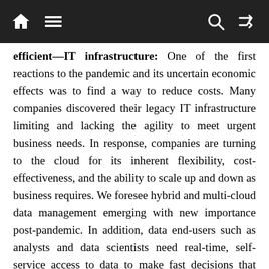Navigation bar with home, menu, search, and shuffle icons
efficient—IT infrastructure: One of the first reactions to the pandemic and its uncertain economic effects was to find a way to reduce costs. Many companies discovered their legacy IT infrastructure limiting and lacking the agility to meet urgent business needs. In response, companies are turning to the cloud for its inherent flexibility, cost-effectiveness, and the ability to scale up and down as business requires. We foresee hybrid and multi-cloud data management emerging with new importance post-pandemic. In addition, data end-users such as analysts and data scientists need real-time, self-service access to data to make fast decisions that have a significant impact, and, as a result, companies are reconsidering how they manage